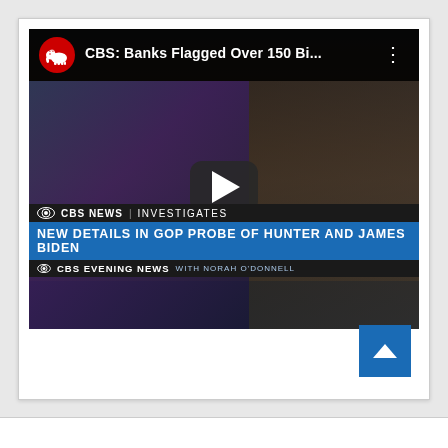[Figure (screenshot): YouTube video thumbnail showing a CBS News interview segment. The video title reads 'CBS: Banks Flagged Over 150 Bi...' with a Republican elephant logo in a red circle. Lower thirds show 'CBS NEWS INVESTIGATES', headline 'NEW DETAILS IN GOP PROBE OF HUNTER AND JAMES BIDEN', and 'CBS EVENING NEWS with NORAH O'DONNELL'. A play button is visible in the center. A blue scroll-to-top arrow button appears bottom right.]